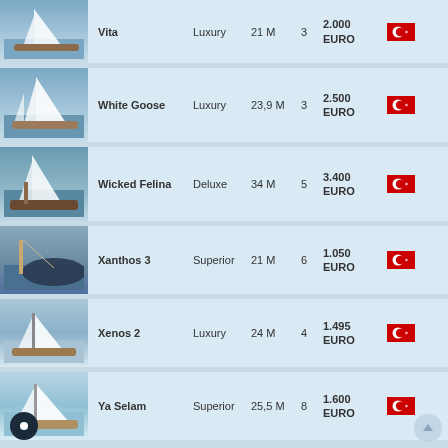| Image | Name | Class | Length | Cabins | Price | Flag |
| --- | --- | --- | --- | --- | --- | --- |
| [photo] | Vita | Luxury | 21 M | 3 | 2.000 EURO | TR |
| [photo] | White Goose | Luxury | 23,9 M | 3 | 2.500 EURO | TR |
| [photo] | Wicked Felina | Deluxe | 34 M | 5 | 3.400 EURO | TR |
| [photo] | Xanthos 3 | Superior | 21 M | 6 | 1.050 EURO | TR |
| [photo] | Xenos 2 | Luxury | 24 M | 4 | 1.495 EURO | TR |
| [photo] | Ya Selam | Superior | 25,5 M | 8 | 1.600 EURO | TR |
| [photo] | ... |  |  |  |  |  |